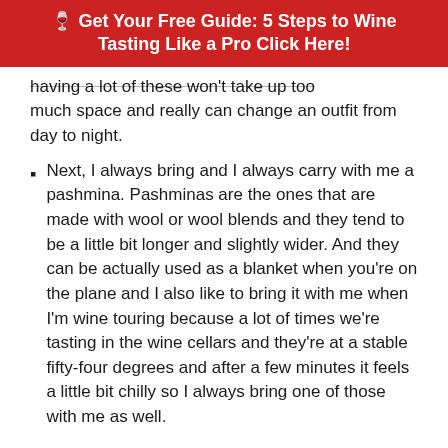🍷 Get Your Free Guide: 5 Steps to Wine Tasting Like a Pro Click Here!
having a lot of these won't take up too much space and really can change an outfit from day to night.
Next, I always bring and I always carry with me a pashmina. Pashminas are the ones that are made with wool or wool blends and they tend to be a little bit longer and slightly wider. And they can be actually used as a blanket when you're on the plane and I also like to bring it with me when I'm wine touring because a lot of times we're tasting in the wine cellars and they're at a stable fifty-four degrees and after a few minutes it feels a little bit chilly so I always bring one of those with me as well.
Okay, so we have the right